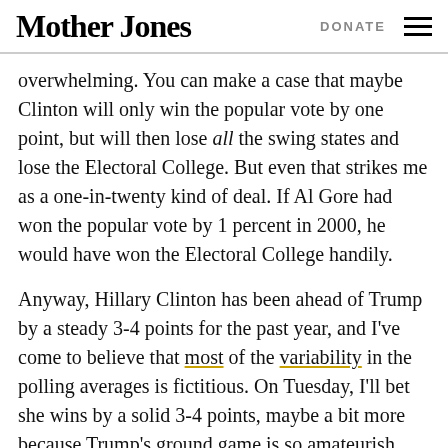Mother Jones | DONATE
overwhelming. You can make a case that maybe Clinton will only win the popular vote by one point, but will then lose all the swing states and lose the Electoral College. But even that strikes me as a one-in-twenty kind of deal. If Al Gore had won the popular vote by 1 percent in 2000, he would have won the Electoral College handily.
Anyway, Hillary Clinton has been ahead of Trump by a steady 3-4 points for the past year, and I've come to believe that most of the variability in the polling averages is fictitious. On Tuesday, I'll bet she wins by a solid 3-4 points, maybe a bit more because Trump's ground game is so amateurish. That's my